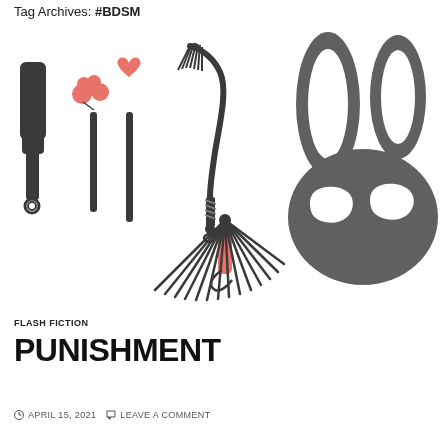Tag Archives: #BDSM
[Figure (illustration): BDSM themed illustration showing various implements on the left (paddle, ticklers, crops, whip, flogger) and a bunny mask silhouette on the right, rendered in dark gray/charcoal with pink/salmon accent colors.]
FLASH FICTION
PUNISHMENT
APRIL 15, 2021   LEAVE A COMMENT